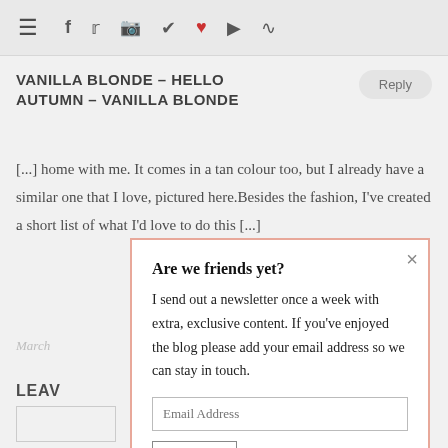Navigation bar with hamburger menu and social icons: f, twitter, instagram, pinterest, heart, youtube, rss
VANILLA BLONDE - HELLO AUTUMN - VANILLA BLONDE
[...] home with me. It comes in a tan colour too, but I already have a similar one that I love, pictured here.Besides the fashion, I've created a short list of what I'd love to do this [...]
March
LEAV
[Figure (screenshot): Newsletter signup popup modal with pink border. Title: 'Are we friends yet?' Text: 'I send out a newsletter once a week with extra, exclusive content. If you've enjoyed the blog please add your email address so we can stay in touch.' Email Address input field and Sign up button. X close button in top right.]